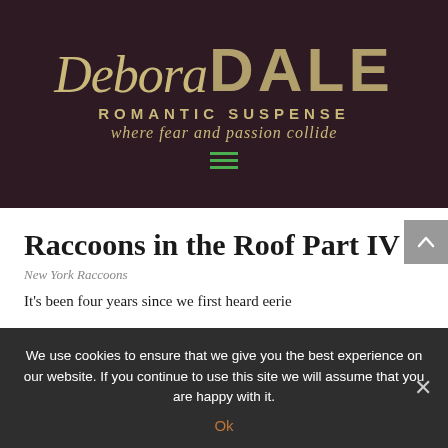[Figure (logo): Debora Dale Romantic Suspense website header logo with dark plum background, gold script 'Debora' and bold 'DALE', subtitle 'ROMANTIC SUSPENSE' and tagline 'where fear and passion collide', green hamburger menu icon]
Raccoons in the Roof Part IV
New York Raccoons
It's been four years since we first heard eerie
We use cookies to ensure that we give you the best experience on our website. If you continue to use this site we will assume that you are happy with it.
Ok